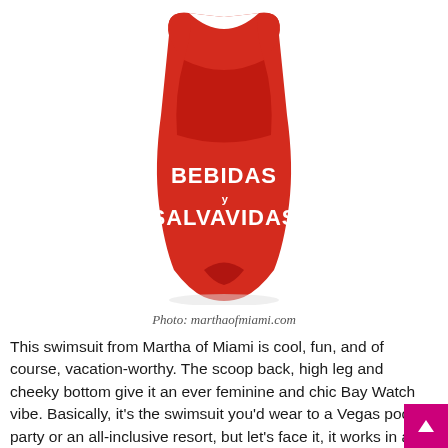[Figure (photo): A red one-piece swimsuit with white bold text reading 'BEBIDAS y SALVAVIDAS' on the front, photographed on a white background.]
Photo: marthaofmiami.com
This swimsuit from Martha of Miami is cool, fun, and of course, vacation-worthy. The scoop back, high leg and cheeky bottom give it an ever feminine and chic Bay Watch vibe. Basically, it's the swimsuit you'd wear to a Vegas pool party or an all-inclusive resort, but let's face it, it works in any backyard pool too.